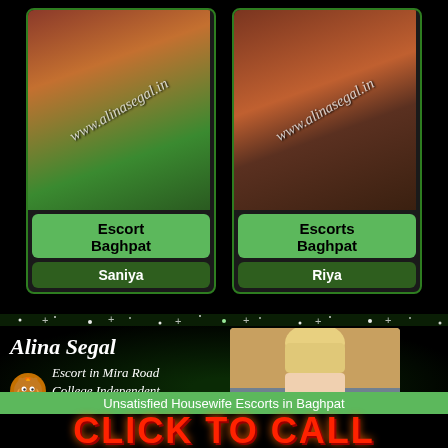[Figure (photo): Photo of woman with red hair wearing green top, watermark www.alinasegal.in]
Escort
Baghpat
Saniya
[Figure (photo): Photo of woman in black dress sitting on brown sofa, watermark www.alinasegal.in]
Escorts
Baghpat
Riya
Alina Segal
Escort in Mira Road
College Independent Girl.
Book Now
[Figure (photo): Photo of blonde woman in white bra and denim shorts on bed]
Unsatisfied Housewife Escorts in Baghpat
CLICK TO CALL